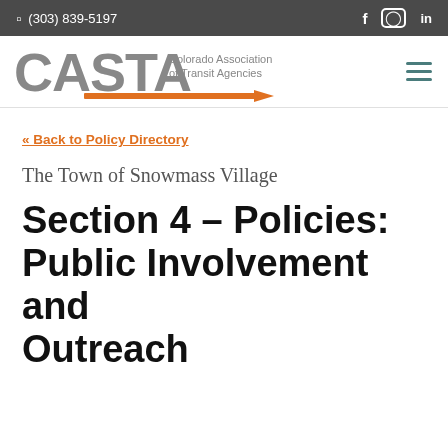(303) 839-5197
[Figure (logo): CASTA — Colorado Association of Transit Agencies logo with orange arrow graphic]
« Back to Policy Directory
The Town of Snowmass Village
Section 4 – Policies: Public Involvement and Outreach